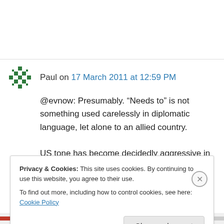Paul on 17 March 2011 at 12:59 PM
@evnow: Presumably. “Needs to” is not something used carelessly in diplomatic language, let alone to an allied country.

US tone has become decidedly aggressive in the
Privacy & Cookies: This site uses cookies. By continuing to use this website, you agree to their use.
To find out more, including how to control cookies, see here: Cookie Policy